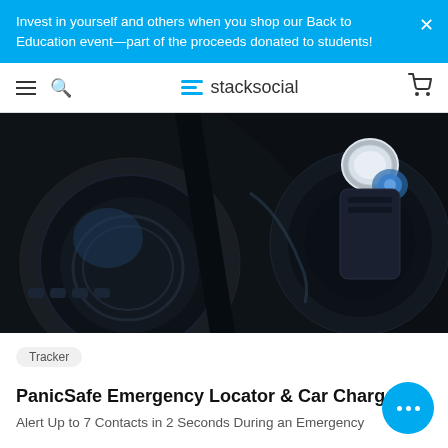Invest in yourself and others when you shop our Back to Education event—part of the proceeds donated to students!
stacksocial
[Figure (photo): Close-up photograph of a car interior showing cup holder area with a car charger device inserted, dark tones with a blue-lit button visible]
Tracker
PanicSafe Emergency Locator & Car Charger
Alert Up to 7 Contacts in 2 Seconds During an Emergency